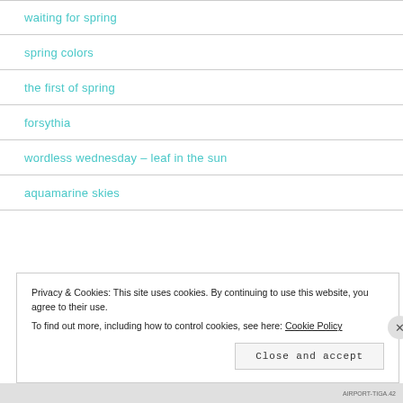waiting for spring
spring colors
the first of spring
forsythia
wordless wednesday – leaf in the sun
aquamarine skies
Privacy & Cookies: This site uses cookies. By continuing to use this website, you agree to their use. To find out more, including how to control cookies, see here: Cookie Policy
Close and accept
AIRPORT-TIGA.42